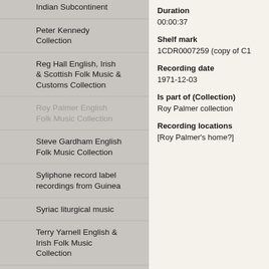Indian Subcontinent
Peter Kennedy Collection
Reg Hall English, Irish & Scottish Folk Music & Customs Collection
Roy Palmer English Folk Music Collection
Steve Gardham English Folk Music Collection
Syliphone record label recordings from Guinea
Syriac liturgical music
Terry Yarnell English & Irish Folk Music Collection
The Golha radio programmes: Flowers of Persian song & music
Vanishing voices from Persia & Farb…
Duration
00:00:37
Shelf mark
1CDR0007259 (copy of C1
Recording date
1971-12-03
Is part of (Collection)
Roy Palmer collection
Recording locations
[Roy Palmer's home?]